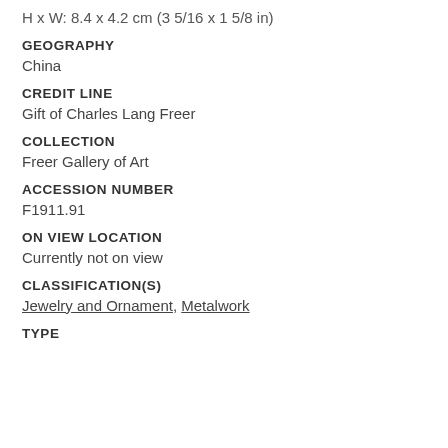H x W: 8.4 x 4.2 cm (3 5/16 x 1 5/8 in)
GEOGRAPHY
China
CREDIT LINE
Gift of Charles Lang Freer
COLLECTION
Freer Gallery of Art
ACCESSION NUMBER
F1911.91
ON VIEW LOCATION
Currently not on view
CLASSIFICATION(S)
Jewelry and Ornament, Metalwork
TYPE